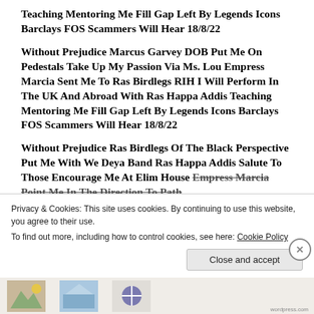Teaching Mentoring Me Fill Gap Left By Legends Icons Barclays FOS Scammers Will Hear 18/8/22
Without Prejudice Marcus Garvey DOB Put Me On Pedestals Take Up My Passion Via Ms. Lou Empress Marcia Sent Me To Ras Birdlegs RIH I Will Perform In The UK And Abroad With Ras Happa Addis Teaching Mentoring Me Fill Gap Left By Legends Icons Barclays FOS Scammers Will Hear 18/8/22
Without Prejudice Ras Birdlegs Of The Black Perspective Put Me With We Deya Band Ras Happa Addis Salute To Those Encourage Me At Elim House Empress Marcia Point Me In The Direction To Path
Privacy & Cookies: This site uses cookies. By continuing to use this website, you agree to their use.
To find out more, including how to control cookies, see here: Cookie Policy
Close and accept